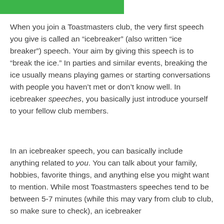[Figure (other): Green banner/header bar at the top of the page]
When you join a Toastmasters club, the very first speech you give is called an “icebreaker” (also written “ice breaker”) speech. Your aim by giving this speech is to “break the ice.” In parties and similar events, breaking the ice usually means playing games or starting conversations with people you haven’t met or don’t know well. In icebreaker speeches, you basically just introduce yourself to your fellow club members.
In an icebreaker speech, you can basically include anything related to you. You can talk about your family, hobbies, favorite things, and anything else you might want to mention. While most Toastmasters speeches tend to be between 5-7 minutes (while this may vary from club to club, so make sure to check), an icebreaker